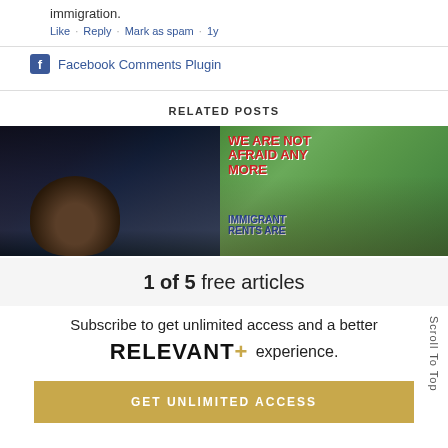immigration.
Like · Reply · Mark as spam · 1y
Facebook Comments Plugin
RELATED POSTS
[Figure (photo): Dark photo of a person looking upward against a dark background]
[Figure (photo): Photo of protesters holding signs reading 'WE ARE NOT AFRAID ANY MORE' and 'IMMIGRANT RENTS ARE' at a rally]
1 of 5 free articles
Subscribe to get unlimited access and a better
RELEVANT+ experience.
GET UNLIMITED ACCESS
Scroll To Top